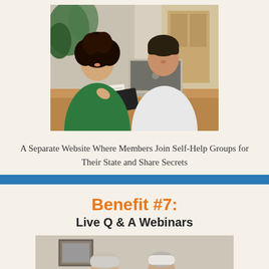[Figure (photo): Two people sitting at a wooden table with a laptop. A woman in a green top is writing notes while a man in a white t-shirt looks at the laptop screen. Plants and a wooden cabinet are visible in the background.]
A Separate Website Where Members Join Self-Help Groups for Their State and Share Secrets
Benefit #7:
Live Q & A Webinars
[Figure (photo): Two older men sitting at a table, appearing to be in a meeting or webinar setting, with a framed picture on the wall behind them.]